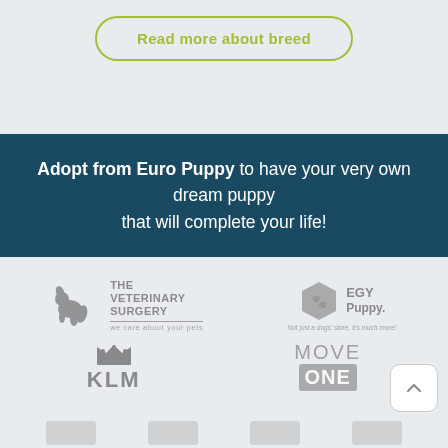Read more about breed
Adopt from Euro Puppy to have your very own dream puppy that will complete your life!
[Figure (logo): The Veterinary Surgery logo - dog silhouette with text 'THE VETERINARY SURGERY' and tagline 'we care about your pets']
[Figure (logo): EGY Puppy logo - hexagon shape with paw print and text 'EGY Puppy. Not just a dogs store, it's much more!']
[Figure (logo): KLM airline logo with crown and text KLM in bold]
[Figure (logo): MoveOne logo with MOVE in light text and ONE in white box on grey background]
[Figure (logo): Partially visible logos at bottom of page]